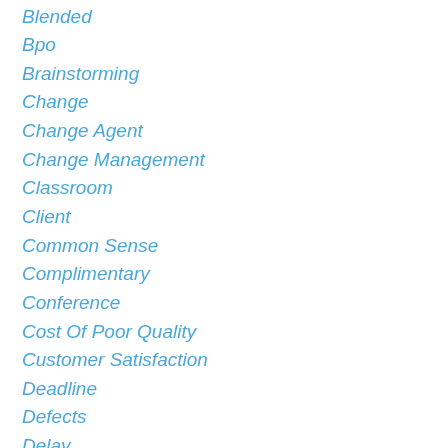Blended
Bpo
Brainstorming
Change
Change Agent
Change Management
Classroom
Client
Common Sense
Complimentary
Conference
Cost Of Poor Quality
Customer Satisfaction
Deadline
Defects
Delay
Deliberate Practice
Delighters
Disaster
Dlsu
Dmaic